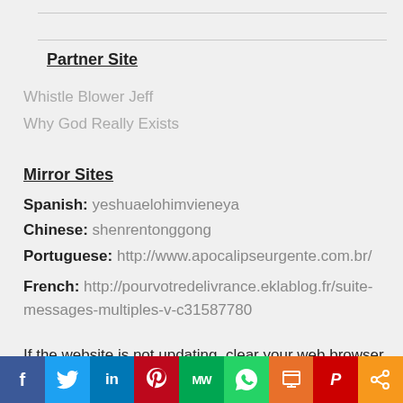Partner Site
Whistle Blower Jeff
Why God Really Exists
Mirror Sites
Spanish: yeshuaelohimvieneya
Chinese: shenrentonggong
Portuguese: http://www.apocalipseurgente.com.br/
French: http://pourvotredelivrance.eklablog.fr/suite-messages-multiples-v-c31587780
If the website is not updating, clear your web browser
[Figure (infographic): Social media share bar with icons: Facebook (blue), Twitter (light blue), LinkedIn (dark blue), Pinterest (red), MW (green), WhatsApp (green), Print (orange), Parler (dark red), Share (orange)]